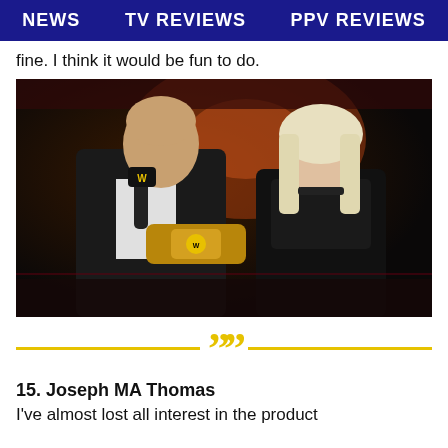NEWS   TV REVIEWS   PPV REVIEWS
fine. I think it would be fun to do.
[Figure (photo): A man in a leather jacket holding a WWE microphone and a championship belt, standing next to a woman with platinum blonde hair wearing a black corset and choker, on a dark stage with orange/red lighting.]
""
15. Joseph MA Thomas
I've almost lost all interest in the product